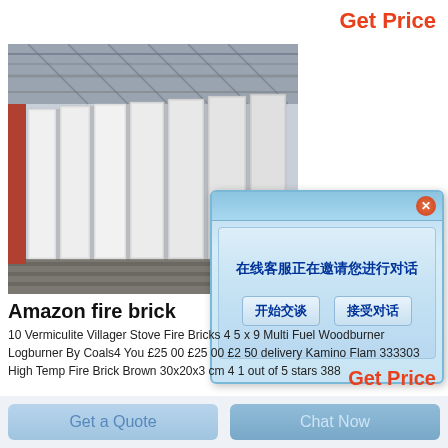Get Price
[Figure (photo): Industrial warehouse with large white rectangular panels standing upright in rows on the floor, with a steel roof structure visible above.]
[Figure (screenshot): Chinese-language chat invitation dialog popup with blue gradient background, showing text '在线客服正在邀请您进行对话' and two buttons '开始交谈' and '接受对话'.]
Amazon fire brick
10 Vermiculite Villager Stove Fire Bricks 4 5 x 9 Multi Fuel Woodburner Logburner By Coals4 You £25 00 £25 00 £2 50 delivery Kamino Flam 333303 High Temp Fire Brick Brown 30x20x3 cm 4 1 out of 5 stars 388
Get Price
Get a Quote
Chat Now